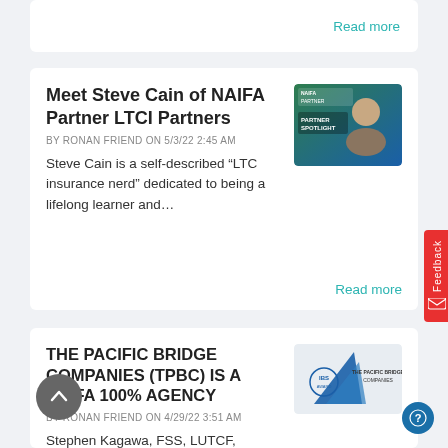Read more
Meet Steve Cain of NAIFA Partner LTCI Partners
BY RONAN FRIEND ON 5/3/22 2:45 AM
Steve Cain is a self-described “LTC insurance nerd” dedicated to being a lifelong learner and...
Read more
[Figure (photo): Partner spotlight image featuring Steve Cain on blue/green background]
THE PACIFIC BRIDGE COMPANIES (TPBC) IS A NAIFA 100% AGENCY
BY RONAN FRIEND ON 4/29/22 3:51 AM
Stephen Kagawa, FSS, LUTCF, founder and CEO of The Pacific Bridge Companies (TPBC), has a...
Read more
[Figure (logo): The Pacific Bridge Companies logo with triangle badge and company name]